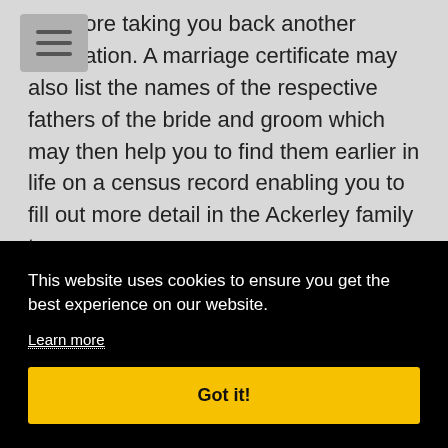therefore taking you back another generation. A marriage certificate may also list the names of the respective fathers of the bride and groom which may then help you to find them earlier in life on a census record enabling you to fill out more detail in the Ackerley family tree.
Search the huge Ancestry Database for Births, [partially obscured] ...amily ... Past. ... and ...BMD database.
This website uses cookies to ensure you get the best experience on our website.
Learn more
Got it!